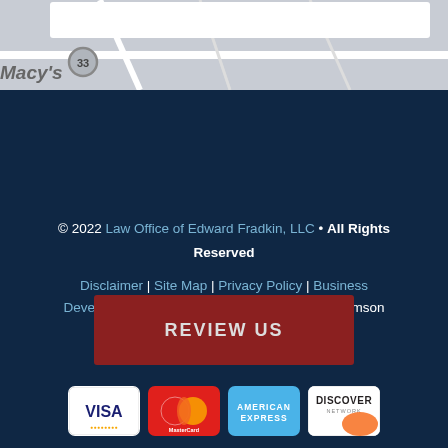[Figure (map): Partial screenshot of a map showing a street intersection with a white search box at top and 'Macy's' label visible]
© 2022 Law Office of Edward Fradkin, LLC • All Rights Reserved
Disclaimer | Site Map | Privacy Policy | Business Development Solutions by FindLaw, part of Thomson Reuters
[Figure (other): Red REVIEW US button]
[Figure (other): Payment method logos: Visa, MasterCard, American Express, Discover Network]